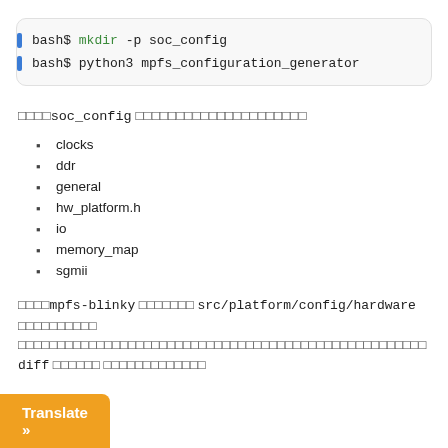[Figure (screenshot): Code block showing two bash commands: 'bash$ mkdir -p soc_config' and 'bash$ python3 mpfs_configuration_generator']
□□□□soc_config □□□□□□□□□□□□□□□□□□□□□
clocks
ddr
general
hw_platform.h
io
memory_map
sgmii
□□□□mpfs-blinky □□□□□□□ src/platform/config/hardware □□□□□□□□□□ □□□□□□□□□□□□□□□□□□□□□□□□□□□□□□□□□□□□□□□□□□□□□□□□□□□□ diff □□□□□□ □□□□□□□□□□□□□
Translate »